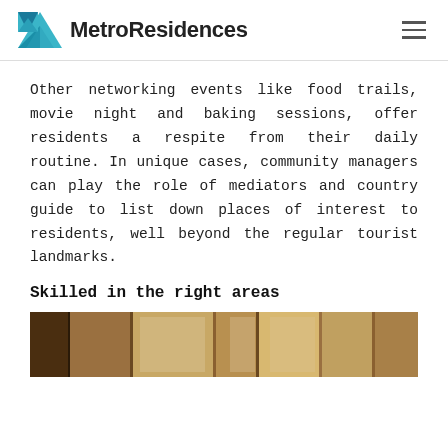MetroResidences
Other networking events like food trails, movie night and baking sessions, offer residents a respite from their daily routine. In unique cases, community managers can play the role of mediators and country guide to list down places of interest to residents, well beyond the regular tourist landmarks.
Skilled in the right areas
[Figure (photo): Interior photo showing wooden furniture, shelves, and windows with natural light.]